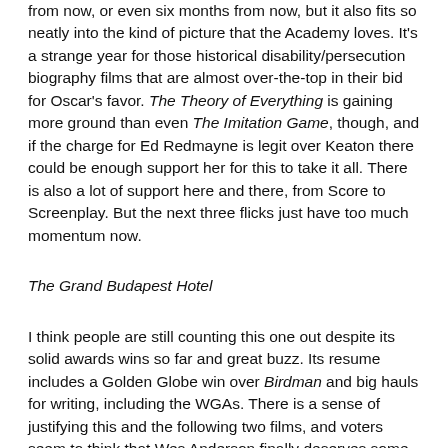from now, or even six months from now, but it also fits so neatly into the kind of picture that the Academy loves. It's a strange year for those historical disability/persecution biography films that are almost over-the-top in their bid for Oscar's favor. The Theory of Everything is gaining more ground than even The Imitation Game, though, and if the charge for Ed Redmayne is legit over Keaton there could be enough support her for this to take it all. There is also a lot of support here and there, from Score to Screenplay. But the next three flicks just have too much momentum now.
The Grand Budapest Hotel
I think people are still counting this one out despite its solid awards wins so far and great buzz. Its resume includes a Golden Globe win over Birdman and big hauls for writing, including the WGAs. There is a sense of justifying this and the following two films, and voters seem to think that Wes Anderson finally deserves some recognition. It's also a beloved film that seems to kick the notion that voters only care for recent releases. In fact, its longevity seems to have helped it stick in peoples' minds for a long time, which also speaks to its quality. It's tough to say if this is Anderson's best film, but that doesn't totally matter - as long as it's the one that voters buy into